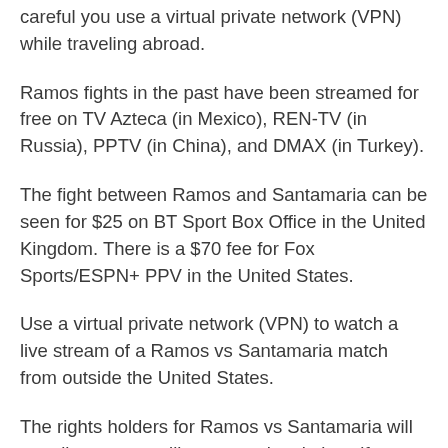careful you use a virtual private network (VPN) while traveling abroad.
Ramos fights in the past have been streamed for free on TV Azteca (in Mexico), REN-TV (in Russia), PPTV (in China), and DMAX (in Turkey).
The fight between Ramos and Santamaria can be seen for $25 on BT Sport Box Office in the United Kingdom. There is a $70 fee for Fox Sports/ESPN+ PPV in the United States.
Use a virtual private network (VPN) to watch a live stream of a Ramos vs Santamaria match from outside the United States.
The rights holders for Ramos vs Santamaria will not allow you to utilize your subscriptions if you are outside of the nation where you purchased them. Your IP address will let the service know where you are, and it will